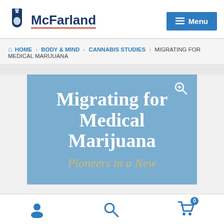McFarland | Menu
HOME > BODY & MIND > CANNABIS STUDIES > MIGRATING FOR MEDICAL MARIJUANA
[Figure (illustration): Book cover for 'Migrating for Medical Marijuana: Pioneers in a New...' with blue background, white bold title text and gold italic subtitle, with a magnify icon in top right corner.]
User icon | Search icon | Cart icon (0)